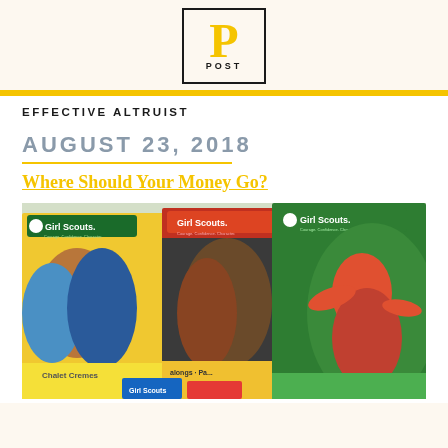[Figure (logo): POST logo: large yellow P letter with the word POST in small bold caps below, enclosed in a black border box]
EFFECTIVE ALTRUIST
AUGUST 23, 2018
Where Should Your Money Go?
[Figure (photo): Photo of multiple Girl Scouts branded booklets/pamphlets fanned out, showing girls on covers. Visible text includes 'Girl Scouts', 'Chalet Cremes', 'Salongs']